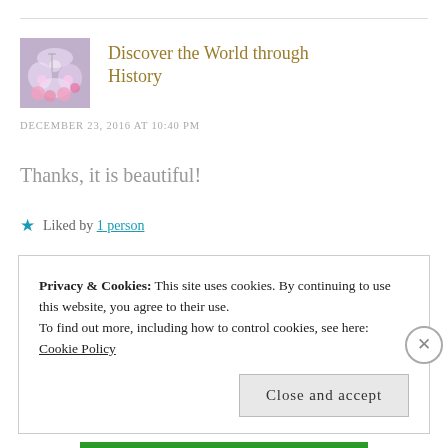[Figure (photo): Small avatar/thumbnail photo for 'Discover the World through History' blog — floral/chandelier decorative image]
Discover the World through History
DECEMBER 23, 2016 AT 10:40 PM
Thanks, it is beautiful!
Liked by 1 person
Privacy & Cookies: This site uses cookies. By continuing to use this website, you agree to their use.
To find out more, including how to control cookies, see here:
Cookie Policy
Close and accept